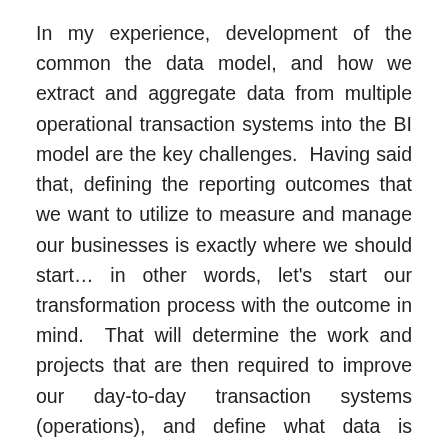In my experience, development of the common the data model, and how we extract and aggregate data from multiple operational transaction systems into the BI model are the key challenges.  Having said that, defining the reporting outcomes that we want to utilize to measure and manage our businesses is exactly where we should start… in other words, let's start our transformation process with the outcome in mind.  That will determine the work and projects that are then required to improve our day-to-day transaction systems (operations), and define what data is required from our accounting systems to allow the BI model to be executed on an automatic basis.
I am sure Jeff Wynn will have significant insights here as although EAS contains significantly different data that financial and business reporting metrics, in essence, it is a data aggregation platform with defined report out